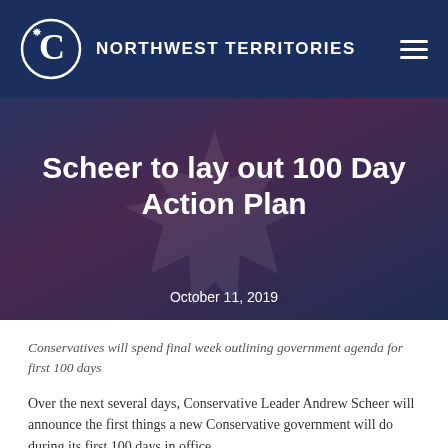NORTHWEST TERRITORIES
Scheer to lay out 100 Day Action Plan
October 11, 2019
Conservatives will spend final week outlining government agenda for first 100 days
Over the next several days, Conservative Leader Andrew Scheer will announce the first things a new Conservative government will do during its first 100 days in office